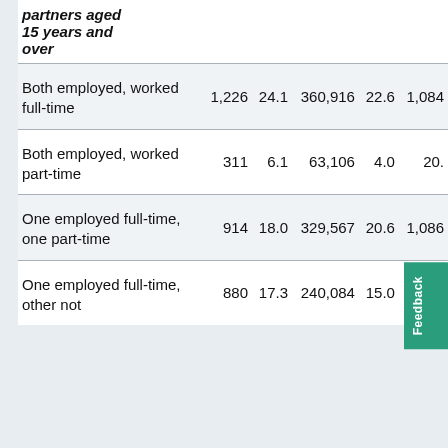|  |  |  |  |  |
| --- | --- | --- | --- | --- |
| partners aged 15 years and over |  |  |  |  |
| Both employed, worked full-time | 1,226 | 24.1 | 360,916 | 22.6 | 1,084 |
| Both employed, worked part-time | 311 | 6.1 | 63,106 | 4.0 | 20. |
| One employed full-time, one part-time | 914 | 18.0 | 329,567 | 20.6 | 1,086 |
| One employed full-time, other not | 880 | 17.3 | 240,084 | 15.0 | 749 |